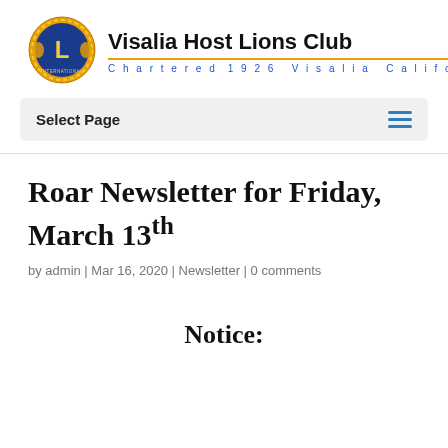[Figure (logo): Lions Club International circular emblem logo with gold 'L' on blue background]
Visalia Host Lions Club
Chartered 1926  Visalia California
Select Page
Roar Newsletter for Friday, March 13th
by admin | Mar 16, 2020 | Newsletter | 0 comments
Notice: